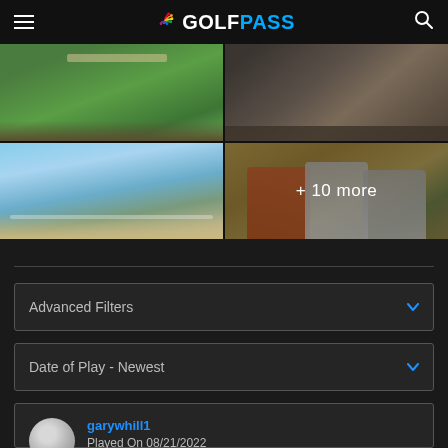NBC GOLFPASS
[Figure (photo): 2x2 grid of golf course photos. Top-left: green golf fairway. Top-right: dark rocky/sandy terrain. Bottom-left: water/lake view with shoreline. Bottom-right: three men standing on golf course with overlay text '+ 10 more']
Advanced Filters
Date of Play - Newest
garywhill1
Played On 08/21/2022
Reviews  1